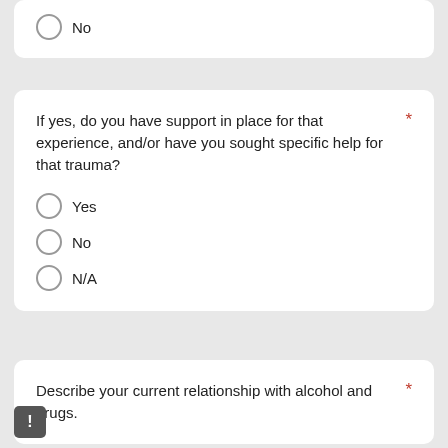No
If yes, do you have support in place for that experience, and/or have you sought specific help for that trauma?
Yes
No
N/A
Describe your current relationship with alcohol and drugs.